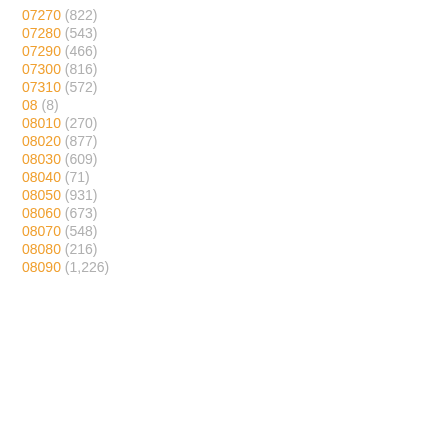07270 (822)
07280 (543)
07290 (466)
07300 (816)
07310 (572)
08 (8)
08010 (270)
08020 (877)
08030 (609)
08040 (71)
08050 (931)
08060 (673)
08070 (548)
08080 (216)
08090 (1,226)